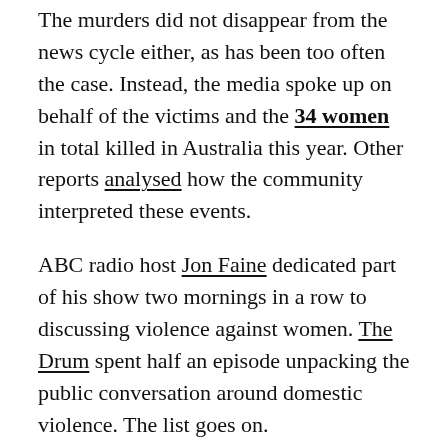The murders did not disappear from the news cycle either, as has been too often the case. Instead, the media spoke up on behalf of the victims and the 34 women in total killed in Australia this year. Other reports analysed how the community interpreted these events.
ABC radio host Jon Faine dedicated part of his show two mornings in a row to discussing violence against women. The Drum spent half an episode unpacking the public conversation around domestic violence. The list goes on.
Credit where it's due
As put by Our Watch ambassador Tarang Chawla, whose family had to bear the brunt of unethical, inaccurate and racist media reporting after his